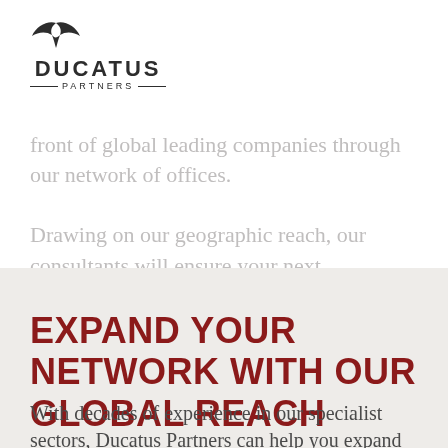[Figure (logo): Ducatus Partners logo with bird/wing emblem above text 'DUCATUS' with horizontal lines and 'PARTNERS' below]
front of global leading companies through our network of offices.
Drawing on our geographic reach, our consultants will ensure your next opportunity is the right professional and personal fit for you.
EXPAND YOUR NETWORK WITH OUR GLOBAL REACH
With decades of experience in our specialist sectors, Ducatus Partners can help you expand and